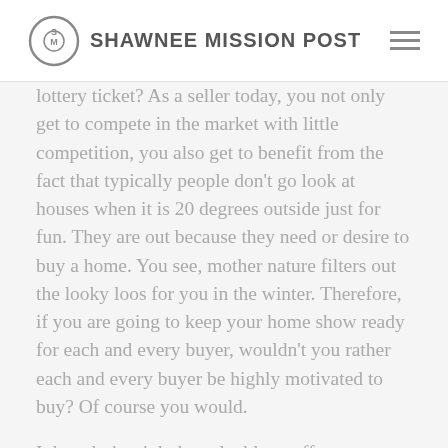SHAWNEE MISSION POST
lottery ticket? As a seller today, you not only get to compete in the market with little competition, you also get to benefit from the fact that typically people don't go look at houses when it is 20 degrees outside just for fun. They are out because they need or desire to buy a home. You see, mother nature filters out the looky loos for you in the winter. Therefore, if you are going to keep your home show ready for each and every buyer, wouldn't you rather each and every buyer be highly motivated to buy? Of course you would.
I thought it might be valuable to offer